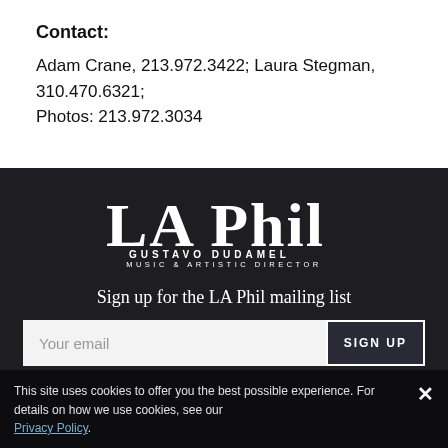Contact:
Adam Crane, 213.972.3422; Laura Stegman, 310.470.6321; Photos: 213.972.3034
[Figure (logo): LA Phil logo with text: LA Phil, Gustavo Dudamel, Music & Artistic Director]
Sign up for the LA Phil mailing list
Your email
SIGN UP
This site uses cookies to offer you the best possible experience. For details on how we use cookies, see our Privacy Policy.
CONCERTS & EVENTS